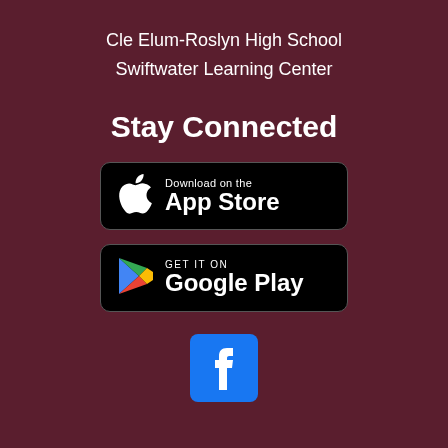Cle Elum-Roslyn High School
Swiftwater Learning Center
Stay Connected
[Figure (logo): Download on the App Store badge - black rounded rectangle button with Apple logo and text 'Download on the App Store']
[Figure (logo): Google Play badge - black rounded rectangle button with Google Play triangle logo and text 'GET IT ON Google Play']
[Figure (logo): Facebook logo - blue square with white lowercase 'f']